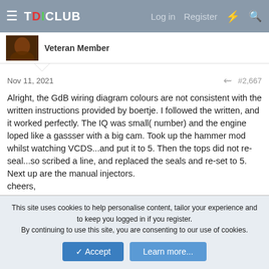TDICLUB  Log in  Register
Veteran Member
Nov 11, 2021  #2,667
Alright, the GdB wiring diagram colours are not consistent with the written instructions provided by boertje. I followed the written, and it worked perfectly. The IQ was small( number) and the engine loped like a gassser with a big cam. Took up the hammer mod whilst watching VCDS...and put it to 5. Then the tops did not re-seal...so scribed a line, and replaced the seals and re-set to 5. Next up are the manual injectors.
cheers,
Douglas
This site uses cookies to help personalise content, tailor your experience and to keep you logged in if you register.
By continuing to use this site, you are consenting to our use of cookies.